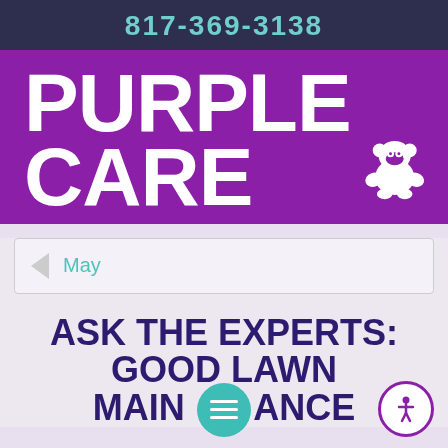817-369-3138
[Figure (logo): Purple Care logo with large white bold text 'PURPLE CARE' on purple background and a gorilla/bear icon in white outline]
May
ASK THE EXPERTS: GOOD LAWN MAINTENANCE